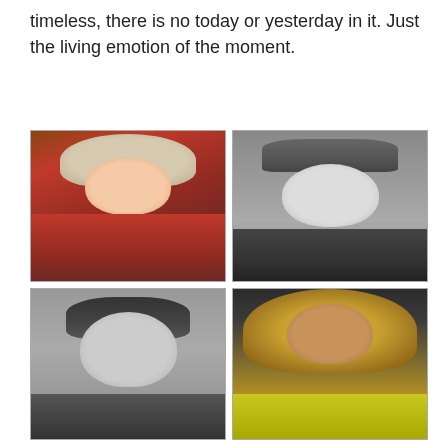timeless, there is no today or yesterday in it. Just the living emotion of the moment.
[Figure (photo): Four portraits in a 2x2 grid: top-left is a classical painting of Mozart in a red coat with powdered wig; top-right is a black and white photo of Frank Sinatra wearing a hat and smiling; bottom-left is a black and white photo of Paul McCartney; bottom-right is a color photo of Beyoncé with curly blonde hair wearing a yellow outfit.]